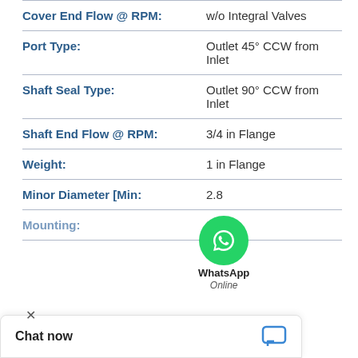| Property | Value |
| --- | --- |
| Cover End Flow @ RPM: | w/o Integral Valves |
| Port Type: | Outlet 45° CCW from Inlet |
| Shaft Seal Type: | Outlet 90° CCW from Inlet |
| Shaft End Flow @ RPM: | 3/4 in Flange |
| Weight: | 1 in Flange |
| Minor Diameter [Min: | 2.8 |
| Mounting: | 3.37 |
[Figure (other): WhatsApp Online chat widget overlay with green phone icon, 'WhatsApp' label, and 'Online' text]
Chat now